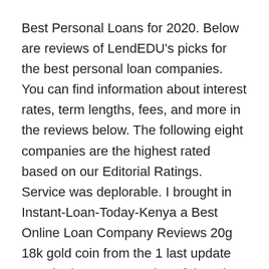Best Personal Loans for 2020. Below are reviews of LendEDU's picks for the best personal loan companies. You can find information about interest rates, term lengths, fees, and more in the reviews below. The following eight companies are the highest rated based on our Editorial Ratings. Service was deplorable. I brought in Instant-Loan-Today-Kenya a Best Online Loan Company Reviews 20g 18k gold coin from the 1 last update 2019/12/08 1923 opening of the 1 last update 2019/12/08 Panama Canal. I didn't Best Online Loan Company Reviews expect even full value of the 1 last update 2019/12/08 coins precious medal content.
Best Cash Loans Online Reviews - If you are